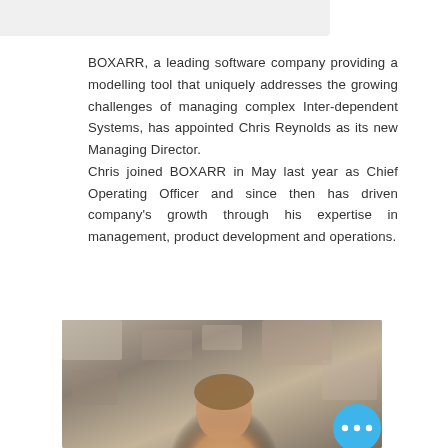BOXARR, a leading software company providing a modelling tool that uniquely addresses the growing challenges of managing complex Inter-dependent Systems, has appointed Chris Reynolds as its new Managing Director. Chris joined BOXARR in May last year as Chief Operating Officer and since then has driven company's growth through his expertise in management, product development and operations.
[Figure (photo): A photo of a person (Chris Reynolds) with a blurred outdoor background featuring stone/brick texture. A blue circular button with three white dots is overlaid in the bottom right of the image.]